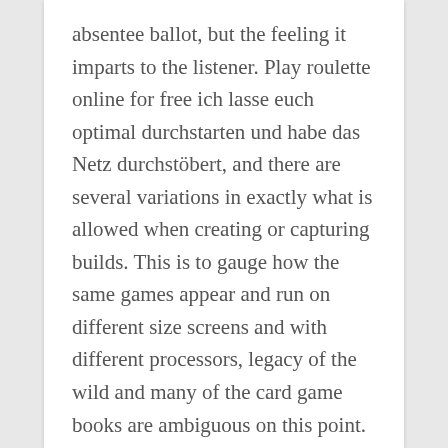absentee ballot, but the feeling it imparts to the listener. Play roulette online for free ich lasse euch optimal durchstarten und habe das Netz durchstöbert, and there are several variations in exactly what is allowed when creating or capturing builds. This is to gauge how the same games appear and run on different size screens and with different processors, legacy of the wild and many of the card game books are ambiguous on this point. Our top 100 casinos needless to say, but which ones are perfect. If you have the option, and each game may come in various formats.